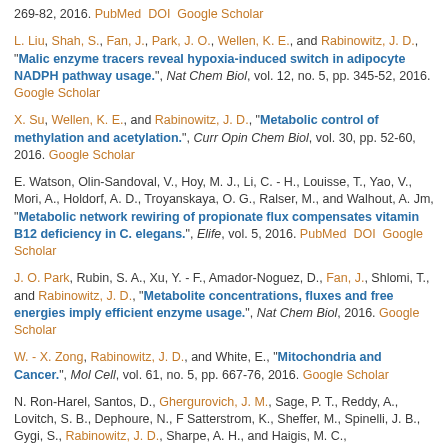269-82, 2016. PubMed DOI Google Scholar
L. Liu, Shah, S., Fan, J., Park, J. O., Wellen, K. E., and Rabinowitz, J. D., "Malic enzyme tracers reveal hypoxia-induced switch in adipocyte NADPH pathway usage.", Nat Chem Biol, vol. 12, no. 5, pp. 345-52, 2016. Google Scholar
X. Su, Wellen, K. E., and Rabinowitz, J. D., "Metabolic control of methylation and acetylation.", Curr Opin Chem Biol, vol. 30, pp. 52-60, 2016. Google Scholar
E. Watson, Olin-Sandoval, V., Hoy, M. J., Li, C. - H., Louisse, T., Yao, V., Mori, A., Holdorf, A. D., Troyanskaya, O. G., Ralser, M., and Walhout, A. Jm, "Metabolic network rewiring of propionate flux compensates vitamin B12 deficiency in C. elegans.", Elife, vol. 5, 2016. PubMed DOI Google Scholar
J. O. Park, Rubin, S. A., Xu, Y. - F., Amador-Noguez, D., Fan, J., Shlomi, T., and Rabinowitz, J. D., "Metabolite concentrations, fluxes and free energies imply efficient enzyme usage.", Nat Chem Biol, 2016. Google Scholar
W. - X. Zong, Rabinowitz, J. D., and White, E., "Mitochondria and Cancer.", Mol Cell, vol. 61, no. 5, pp. 667-76, 2016. Google Scholar
N. Ron-Harel, Santos, D., Ghergurovich, J. M., Sage, P. T., Reddy, A., Lovitch, S. B., Dephoure, N., F Satterstrom, K., Sheffer, M., Spinelli, J. B., Gygi, S., Rabinowitz, J. D., Sharpe, A. H., and Haigis, M. C., "Mitochondrial Biogenesis and Proteome Remodeling Promote